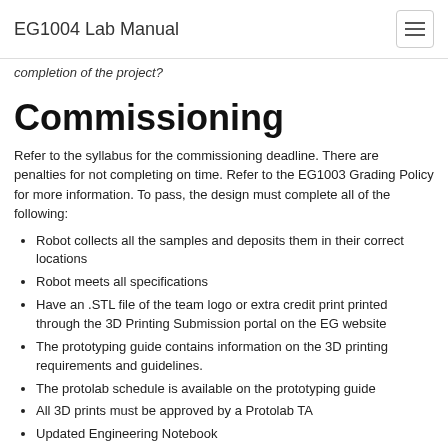EG1004 Lab Manual
completion of the project?
Commissioning
Refer to the syllabus for the commissioning deadline. There are penalties for not completing on time. Refer to the EG1003 Grading Policy for more information. To pass, the design must complete all of the following:
Robot collects all the samples and deposits them in their correct locations
Robot meets all specifications
Have an .STL file of the team logo or extra credit print printed through the 3D Printing Submission portal on the EG website
The prototyping guide contains information on the 3D printing requirements and guidelines.
The protolab schedule is available on the prototyping guide
All 3D prints must be approved by a Protolab TA
Updated Engineering Notebook